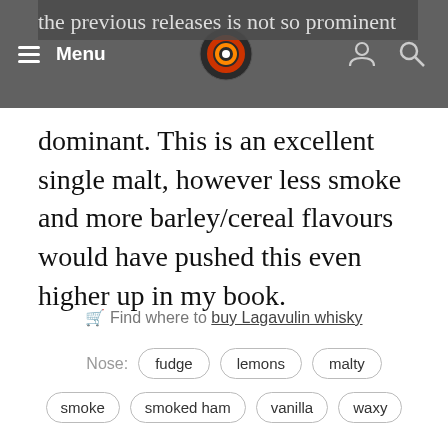≡ Menu
the previous releases is not so prominent here. Instead, smoke and tarr are more dominant. This is an excellent single malt, however less smoke and more barley/cereal flavours would have pushed this even higher up in my book.
🛒 Find where to buy Lagavulin whisky
Nose: fudge  lemons  malty
smoke  smoked ham  vanilla  waxy
Body: medium bodied  oily  Palate:
ginger  lemons  roasted almonds